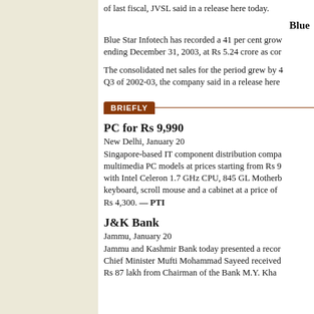of last fiscal, JVSL said in a release here today.
Blue
Blue Star Infotech has recorded a 41 per cent growth ending December 31, 2003, at Rs 5.24 crore as con
The consolidated net sales for the period grew by 4 Q3 of 2002-03, the company said in a release here
BRIEFLY
PC for Rs 9,990
New Delhi, January 20
Singapore-based IT component distribution compa multimedia PC models at prices starting from Rs 9 with Intel Celeron 1.7 GHz CPU, 845 GL Motherb keyboard, scroll mouse and a cabinet at a price of Rs 4,300. — PTI
J&K Bank
Jammu, January 20
Jammu and Kashmir Bank today presented a recor Chief Minister Mufti Mohammad Sayeed received Rs 87 lakh from Chairman of the Bank M.Y. Kha